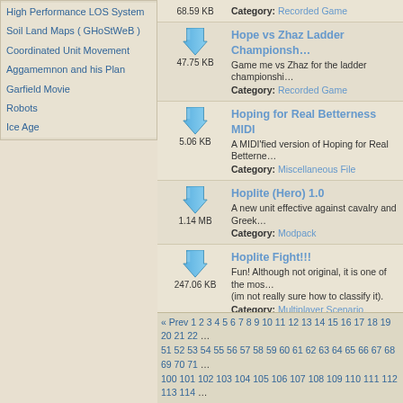High Performance LOS System
Soil Land Maps ( GHoStWeB )
Coordinated Unit Movement
Aggamemnon and his Plan
Garfield Movie
Robots
Ice Age
68.59 KB — Hope vs Zhaz Ladder Championship. Game me vs Zhaz for the ladder championship. Category: Recorded Game
47.75 KB — Hope vs Zhaz Ladder Championship
5.06 KB — Hoping for Real Betterness MIDI. A MIDI'fied version of Hoping for Real Betterness. Category: Miscellaneous File
1.14 MB — Hoplite (Hero) 1.0. A new unit effective against cavalry and Greek. Category: Modpack
247.06 KB — Hoplite Fight!!!. Fun! Although not original, it is one of the most (im not really sure how to classify it). Category: Multiplayer Scenario
68.54 KB — Hoplite Rush Strategy. This game is faster than my previous rush and nice trick on my rush, and there is a possible g. Category: Recorded Game
49.77 KB — Hoplite Toss 2. Engage in Hoplite tossing madness with 2 Min millions of Hoplites! Category: Single Player Scenario
43.35 KB — Hoplite Toss Beta. use a Minotaur to "toss" hoplites from your island occupied by your enemy. Category: Single Player Scenario
44.05 KB — Hoplite Toss V1.0. use a Minotaur to "toss" hoplites from your island occupied by your enemy. Category: Single Player Scenario
« Prev 1 2 3 4 5 6 7 8 9 10 11 12 13 14 15 16 17 18 19 20 21 22 … 51 52 53 54 55 56 57 58 59 60 61 62 63 64 65 66 67 68 69 70 71 … 100 101 102 103 104 105 106 107 108 109 110 111 112 113 114 …